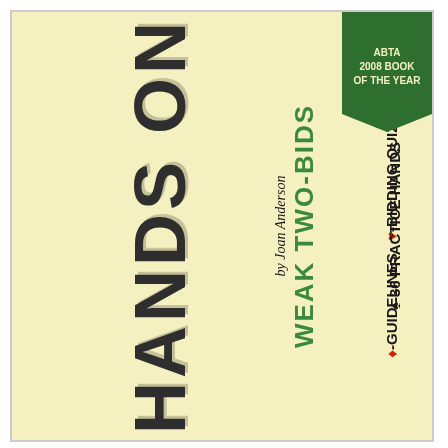[Figure (other): ABTA 2008 Book of the Year banner/ribbon in green at top right corner]
HANDS ON
WEAK TWO-BIDS
♦-GUIDELINES  ♥-BIDDING QUIZZES
♠-36 PRACTICE HANDS
by Joan Anderson